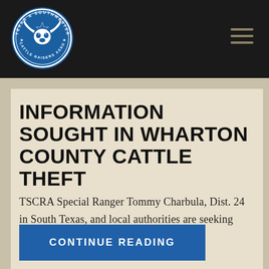[Figure (logo): Texas and Southwestern Cattle Raisers Association circular logo with longhorn skull and star, blue and white on dark background]
INFORMATION SOUGHT IN WHARTON COUNTY CATTLE THEFT
TSCRA Special Ranger Tommy Charbula, Dist. 24 in South Texas, and local authorities are seeking information regarding the theft of …
CONTINUE READING